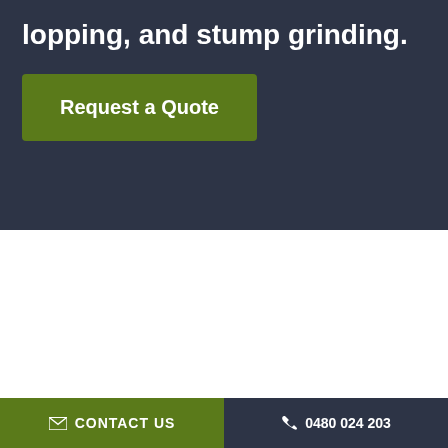lopping, and stump grinding.
Request a Quote
CONTACT US  0480 024 203